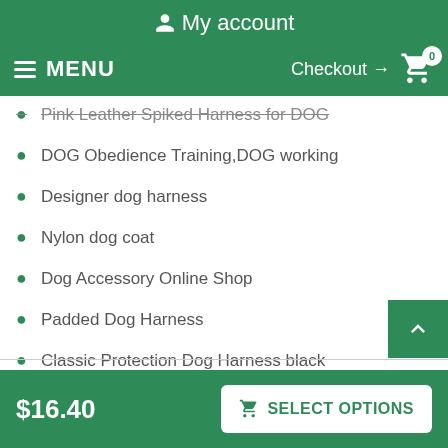My account
MENU  Checkout → 0
Pink Leather Spiked Harness for DOG
DOG Obedience Training,DOG working
Designer dog harness
Nylon dog coat
Dog Accessory Online Shop
Padded Dog Harness
Classic Protection Dog Harness black
Dog Safety Harness
Adjustable Dog Harness
$16.40  SELECT OPTIONS